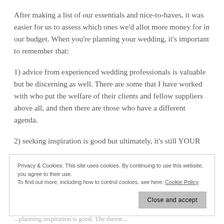After making a list of our essentials and nice-to-haves, it was easier for us to assess which ones we'd allot more money for in our budget. When you're planning your wedding, it's important to remember that:
1) advice from experienced wedding professionals is valuable but be discerning as well. There are some that I have worked with who put the welfare of their clients and fellow suppliers above all, and then there are those who have a different agenda.
2) seeking inspiration is good but ultimately, it's still YOUR
Privacy & Cookies: This site uses cookies. By continuing to use this website, you agree to their use.
To find out more, including how to control cookies, see here: Cookie Policy
Close and accept